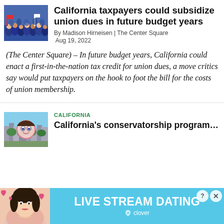[Figure (photo): Crowd of people at what appears to be a union or political rally, blue tones]
California taxpayers could subsidize union dues in future budget years
By Madison Hirneisen | The Center Square
Aug 19, 2022
(The Center Square) – In future budget years, California could enact a first-in-the-nation tax credit for union dues, a move critics say would put taxpayers on the hook to foot the bill for the costs of union membership.
[Figure (photo): Photo thumbnail for California conservatorship article, showing person with illustrated face overlay]
CALIFORNIA
California's conservatorship program…
[Figure (photo): Advertisement banner for Live Stream Dating by Clover app, showing woman with hearts]